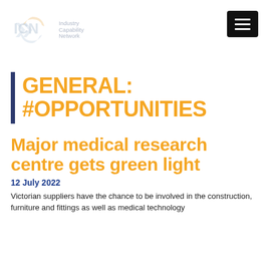[Figure (logo): ICN Industry Capability Network logo with hexagonal arrow icon in grey/light blue tones]
GENERAL: #OPPORTUNITIES
Major medical research centre gets green light
12 July 2022
Victorian suppliers have the chance to be involved in the construction, furniture and fittings as well as medical technology